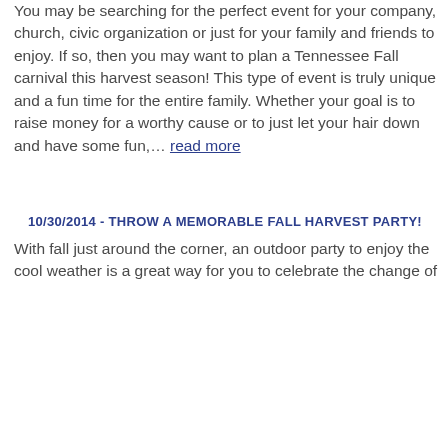You may be searching for the perfect event for your company, church, civic organization or just for your family and friends to enjoy. If so, then you may want to plan a Tennessee Fall carnival this harvest season! This type of event is truly unique and a fun time for the entire family. Whether your goal is to raise money for a worthy cause or to just let your hair down and have some fun,… read more
10/30/2014 - THROW A MEMORABLE FALL HARVEST PARTY!
With fall just around the corner, an outdoor party to enjoy the cool weather is a great way for you to celebrate the change of